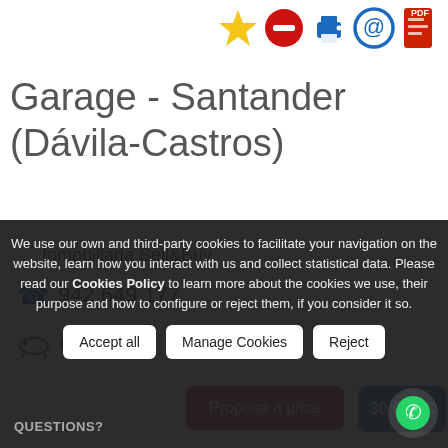[Figure (other): Row of action icons: star (yellow), minus/remove (red), print (blue), email/at (blue), PDF (red)]
Garage - Santander (Dávila-Castros)
Inmobiliaria Sell&Buy
📞 942 649 177
🛁 0
Propose a price
30 000 €
We use our own and third-party cookies to facilitate your navigation on the website, learn how you interact with us and collect statistical data. Please read our Cookies Policy to learn more about the cookies we use, their purpose and how to configure or reject them, if you consider it so.
Accept all
Manage Cookies
Reject
QUESTIONS?